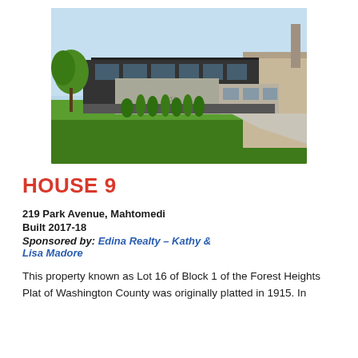[Figure (photo): Exterior photo of a modern single-story home with dark horizontal roofline, large concrete wall section with number 219, green lawn in foreground, light blue sky background]
HOUSE 9
219 Park Avenue, Mahtomedi
Built 2017-18
Sponsored by: Edina Realty – Kathy & Lisa Madore
This property known as Lot 16 of Block 1 of the Forest Heights Plat of Washington County was originally platted in 1915. In